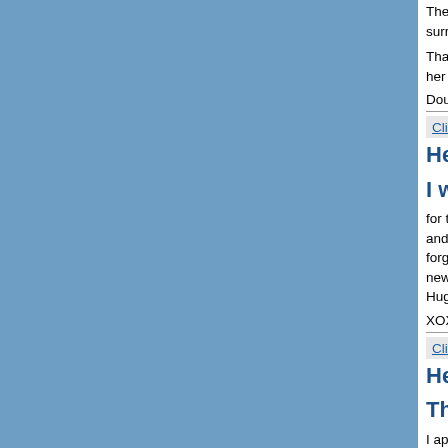The Tour activities were very nice in that it allowed us time to absorb our surroundings. Well worth the time to participate in the ac...
Thank you, Helen! I shall stay in touch with you when I m... her family. What an adventure life holds for those who ar...
Doug
Click Here To Return To Tour Menu
Hello Everyone
I would like to thank each and every...
for the kindness and concern for me while I was in your C... and concern for me, she is truly an asset to the company... forget. I assume that everyone knows that Charlita and I... new family and could not be happier. I will return the last... Hugs.
XOX David C
Click Here To Return To Tour Menu
Hello Anna-Maria
Thank you for all your help on our t...
I appreciate the time and effort you put into helping us to... my first visit to Ukraine. I anticipated seeing the local sigh... possibility of having the help of a beautiful, local woman t... Natasha after meeting her at the Social in Poltava, she m... character, class and, of course, beauty. Her 3 1/2 year ol... the too short time with both of them and I do hope that...